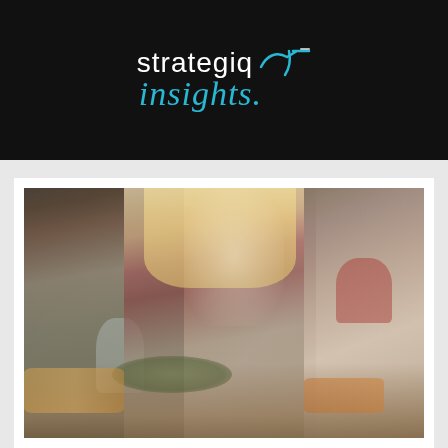[Figure (logo): Strategiq Insights logo on black background. 'strategiq' in white light sans-serif with a handwritten brush accent, 'insights.' in cyan/teal italic script below.]
[Figure (photo): Photo of people dining together at a table. A dark-haired man on the left holds a white wine glass and smiles. A smiling blonde woman in the center holds a fork with food. A woman on the right holds a red wine glass, shown from behind. Table has food, greens, and wine glasses.]